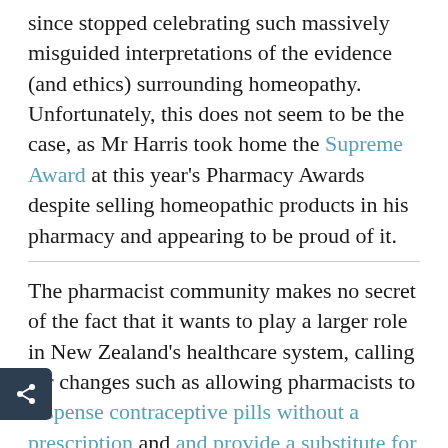since stopped celebrating such massively misguided interpretations of the evidence (and ethics) surrounding homeopathy. Unfortunately, this does not seem to be the case, as Mr Harris took home the Supreme Award at this year's Pharmacy Awards despite selling homeopathic products in his pharmacy and appearing to be proud of it.
The pharmacist community makes no secret of the fact that it wants to play a larger role in New Zealand's healthcare system, calling for changes such as allowing pharmacists to dispense contraceptive pills without a prescription and and provide a substitute for a GP's services in some circumstances. From my position as an external onlooker, it does seem like there is a certain degree of pharmacists wanting to extend their practice and doctors trying to defend their turf, although I think that it's a more complex story...